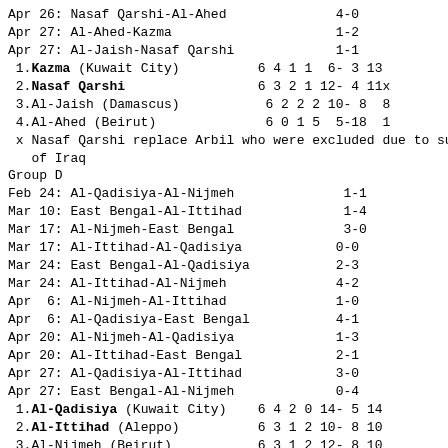Apr 26: Nasaf Qarshi-Al-Ahed   4-0
Apr 27: Al-Ahed-Kazma          1-2
Apr 27: Al-Jaish-Nasaf Qarshi  1-1
| Pos | Team | P | W | D | L | GF-GA | Pts |
| --- | --- | --- | --- | --- | --- | --- | --- |
| 1. | Kazma (Kuwait City) | 6 | 4 | 1 | 1 | 6- 3 | 13 |
| 2. | Nasaf Qarshi | 6 | 3 | 2 | 1 | 12- 4 | 11x |
| 3. | Al-Jaish (Damascus) | 6 | 2 | 2 | 2 | 10- 8 | 8 |
| 4. | Al-Ahed (Beirut) | 6 | 0 | 1 | 5 | 5-18 | 1 |
x Nasaf Qarshi replace Arbil who were excluded due to sus of Iraq
Group D
Feb 24: Al-Qadisiya-Al-Nijmeh   1-1
Mar 10: East Bengal-Al-Ittihad  1-4
Mar 17: Al-Nijmeh-East Bengal   3-0
Mar 17: Al-Ittihad-Al-Qadisiya  0-0
Mar 24: East Bengal-Al-Qadisiya 2-3
Mar 24: Al-Ittihad-Al-Nijmeh    4-2
Apr  6: Al-Nijmeh-Al-Ittihad    1-0
Apr  6: Al-Qadisiya-East Bengal 4-1
Apr 20: Al-Nijmeh-Al-Qadisiya   1-3
Apr 20: Al-Ittihad-East Bengal  2-1
Apr 27: Al-Qadisiya-Al-Ittihad  3-0
Apr 27: East Bengal-Al-Nijmeh   0-4
| Pos | Team | P | W | D | L | GF-GA | Pts |
| --- | --- | --- | --- | --- | --- | --- | --- |
| 1. | Al-Qadisiya (Kuwait City) | 6 | 4 | 2 | 0 | 14- 5 | 14 |
| 2. | Al-Ittihad (Aleppo) | 6 | 3 | 1 | 2 | 10- 8 | 10 |
| 3. | Al-Nijmeh (Beirut) | 6 | 3 | 1 | 2 | 12- 8 | 10 |
| 4. | East Bengal (Calcutta) | 6 | 0 | 0 | 6 | 5-20 | 0 |
Group E